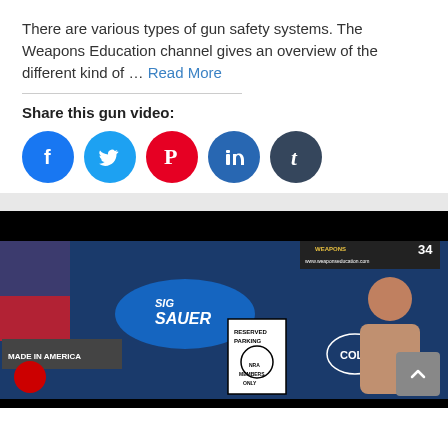There are various types of gun safety systems. The Weapons Education channel gives an overview of the different kind of … Read More
Share this gun video:
[Figure (infographic): Social share buttons: Facebook (blue circle with f), Twitter (light blue circle with bird), Pinterest (red circle with P), LinkedIn (blue circle with in), Tumblr (dark blue circle with t)]
[Figure (photo): Video thumbnail showing a man at a table with SIG Sauer logo, NRA Members Only parking sign, Colt logo, and other gun-related items and signs on a blue background. A scroll-up button is visible in the bottom right.]